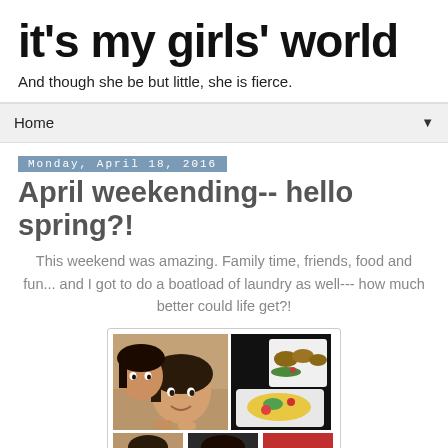it's my girls' world
And though she be but little, she is fierce.
Home
Monday, April 18, 2016
April weekending-- hello spring?!
This weekend was amazing. Family time, friends, food and fun... and I got to do a boatload of laundry as well--- how much better could life get?!
[Figure (photo): Photo collage with two girls selfie on left, food plate on right top, and three smaller photos on the bottom row]